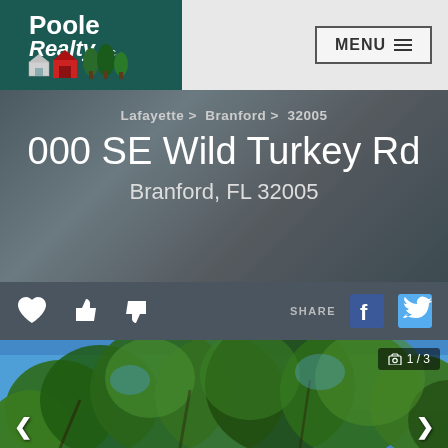[Figure (logo): Poole Realty Inc. logo on dark teal background with barn and trees illustration]
MENU
Lafayette > Branford > 32005
000 SE Wild Turkey Rd
Branford, FL 32005
SHARE
[Figure (photo): Aerial view looking up through tree canopy with green leaves and blue sky, photo 1 of 3]